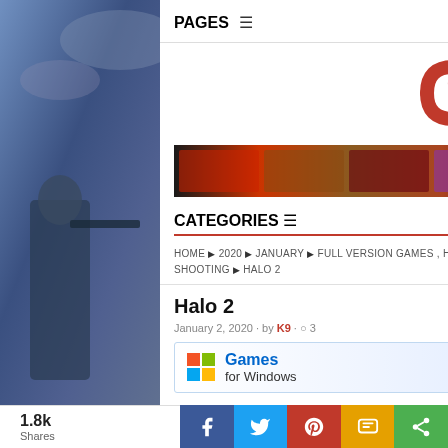[Figure (photo): Left side gaming photo - soldier with weapon]
[Figure (photo): Right side gaming photo - armored soldier]
PAGES
[Figure (logo): Capun Ka Games logo with red and blue arrow design]
[Figure (photo): Gaming banner with cars, fighters and game characters]
CATEGORIES
HOME ▶ 2020 ▶ JANUARY ▶ FULL VERSION GAMES , H , REQ , SHOOTING ▶ HALO 2
Halo 2
January 2, 2020 · by K9 · ○ 3
[Figure (screenshot): Games for Windows PC DVD LIVE advertisement banner]
1.8k Shares